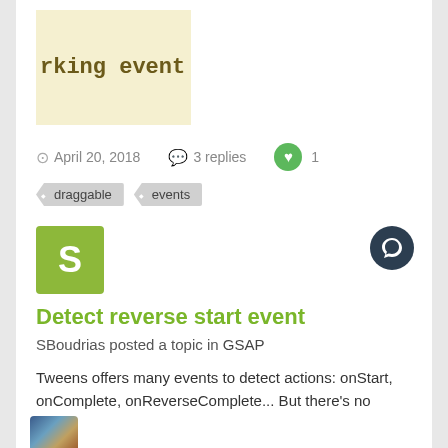[Figure (screenshot): Cropped code/image placeholder showing 'rking event' text on light yellow background]
April 20, 2018   3 replies   1
draggable
events
[Figure (illustration): Green square avatar with letter S]
Detect reverse start event
SBoudrias posted a topic in GSAP
Tweens offers many events to detect actions: onStart, onComplete, onReverseComplete... But there's no onReverseStart How would you
March 12, 2014   17 replies
tweenmax
events
(and 1 more)
[Figure (photo): Partially visible avatar photo at bottom of page]